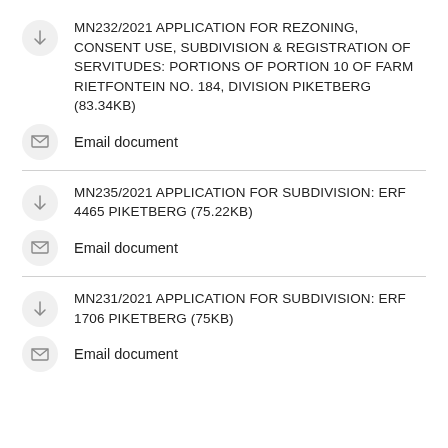MN232/2021 APPLICATION FOR REZONING, CONSENT USE, SUBDIVISION & REGISTRATION OF SERVITUDES: PORTIONS OF PORTION 10 OF FARM RIETFONTEIN NO. 184, DIVISION PIKETBERG (83.34KB)
Email document
MN235/2021 APPLICATION FOR SUBDIVISION: ERF 4465 PIKETBERG (75.22KB)
Email document
MN231/2021 APPLICATION FOR SUBDIVISION: ERF 1706 PIKETBERG (75KB)
Email document